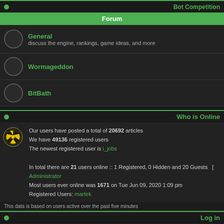Bot Competition
Forum
General - discuss the engine, rankings, game ideas, and more
Wormageddon
BitBath
Who is Online
Our users have posted a total of 20692 articles
We have 49136 registered users
The newest registered user is i_jobs
In total there are 21 users online :: 1 Registered, 0 Hidden and 20 Guests   [ Administrator
Most users ever online was 1671 on Tue Jun 09, 2020 1:09 pm
Registered Users: martek
This data is based on users active over the past five minutes
Log in
Username: [input] Password: [input] Log
New posts    No new posts
Powered by phpBB © 2001, 2005 ph / Design by Freestyle XL / Powers